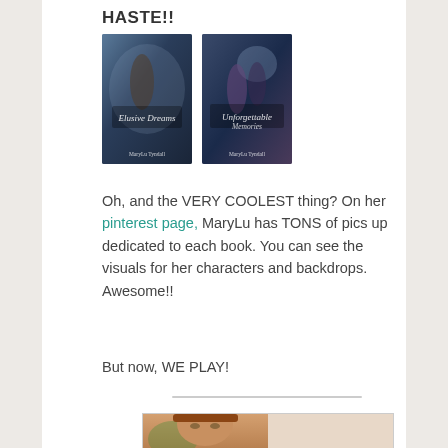HASTE!!
[Figure (photo): Two book covers side by side: fantasy/historical romance novel covers by MaryLu Tyndall]
Oh, and the VERY COOLEST thing? On her pinterest page, MaryLu has TONS of pics up dedicated to each book. You can see the visuals for her characters and backdrops. Awesome!!
But now, WE PLAY!
[Figure (photo): Bottom portion showing two images side by side: a woman's face on the left with brown hair, and a light peach/blank area on the right]